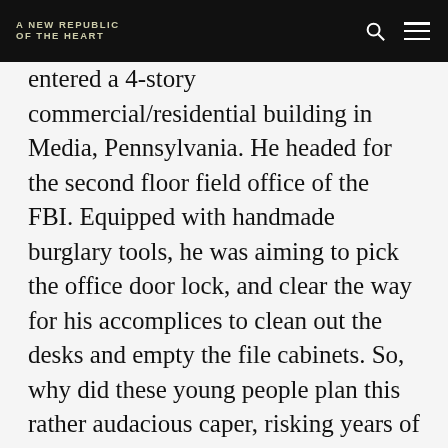A NEW REPUBLIC OF THE HEART
entered a 4-story commercial/residential building in Media, Pennsylvania. He headed for the second floor field office of the FBI. Equipped with handmade burglary tools, he was aiming to pick the office door lock, and clear the way for his accomplices to clean out the desks and empty the file cabinets. So, why did these young people plan this rather audacious caper, risking years of hard time in prison? And what were they going to do with all that paperwork if they safely hauled it away? Let’s flash back a few years.